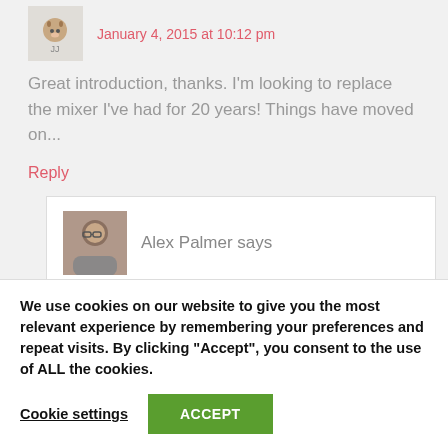January 4, 2015 at 10:12 pm
Great introduction, thanks. I'm looking to replace the mixer I've had for 20 years! Things have moved on...
Reply
Alex Palmer says
We use cookies on our website to give you the most relevant experience by remembering your preferences and repeat visits. By clicking "Accept", you consent to the use of ALL the cookies.
Cookie settings
ACCEPT